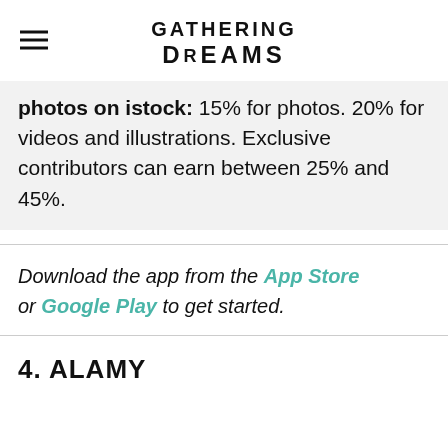GATHERING DREAMS
photos on istock: 15% for photos. 20% for videos and illustrations. Exclusive contributors can earn between 25% and 45%.
Download the app from the App Store or Google Play to get started.
4. ALAMY